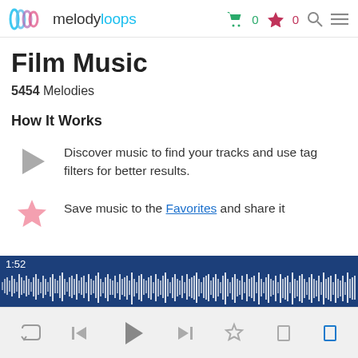melodyloops — header with cart 0, favorites 0, search, menu
Film Music
5454 Melodies
How It Works
Discover music to find your tracks and use tag filters for better results.
Save music to the Favorites and share it
[Figure (screenshot): Audio waveform player bar showing 1:52 timestamp and blue waveform visualization]
[Figure (screenshot): Media player controls bar with repeat, skip back, play, skip forward, star/favorite, and additional controls]